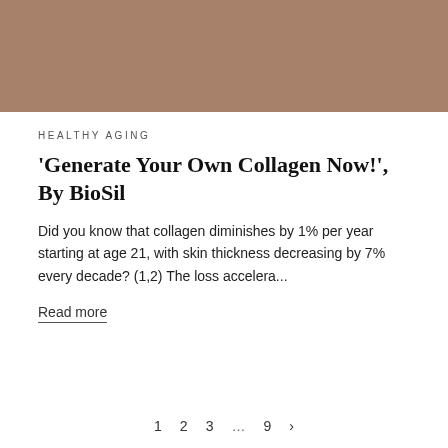[Figure (photo): Brownish-tan rectangular image placeholder at the top of the page]
HEALTHY AGING
'Generate Your Own Collagen Now!', By BioSil
Did you know that collagen diminishes by 1% per year starting at age 21, with skin thickness decreasing by 7% every decade? (1,2) The loss accelera...
Read more
1  2  3  …  9  >